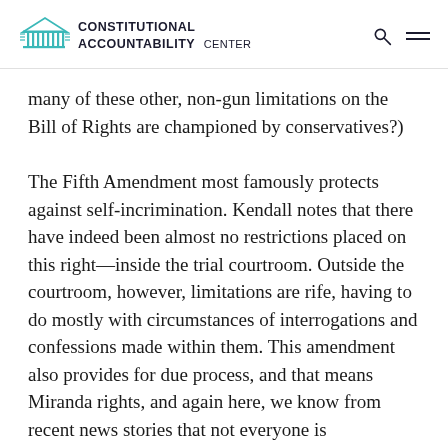CONSTITUTIONAL ACCOUNTABILITY CENTER
many of these other, non-gun limitations on the Bill of Rights are championed by conservatives?)
The Fifth Amendment most famously protects against self-incrimination. Kendall notes that there have indeed been almost no restrictions placed on this right—inside the trial courtroom. Outside the courtroom, however, limitations are rife, having to do mostly with circumstances of interrogations and confessions made within them. This amendment also provides for due process, and that means Miranda rights, and again here, we know from recent news stories that not everyone is immediately read them, and we also know that it's